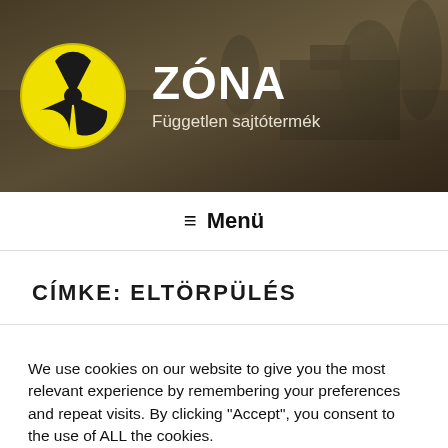[Figure (logo): ZÓNA website header with radiation hazard symbol logo on dark sepia background of abandoned building, title 'ZÓNA' and subtitle 'Független sajtótermék']
≡ Menü
CÍMKE: ELTÖRPÜLÉS
We use cookies on our website to give you the most relevant experience by remembering your preferences and repeat visits. By clicking "Accept", you consent to the use of ALL the cookies.
Do not sell my personal information.
Cookie settings   ACCEPT